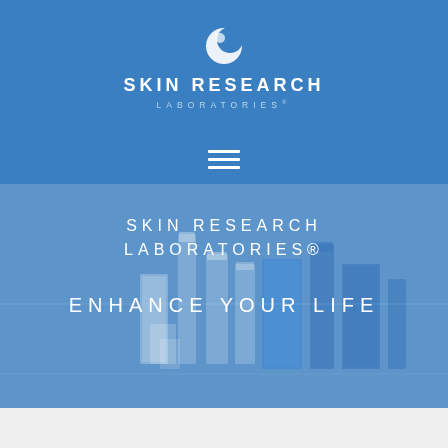[Figure (logo): Skin Research Laboratories logo with moon/circle icon and text 'SKIN RESEARCH LABORATORIES' on blue background]
[Figure (infographic): Hamburger menu icon (three horizontal white lines) on blue background]
SKIN RESEARCH LABORATORIES®
ENHANCE YOUR LIFE
[Figure (photo): Array of Skin Research Laboratories skincare product bottles and boxes displayed against blue background]